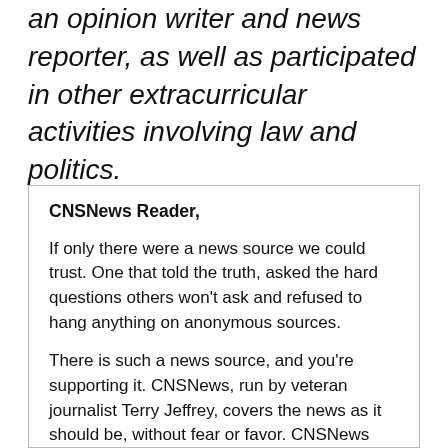an opinion writer and news reporter, as well as participated in other extracurricular activities involving law and politics.
CNSNews Reader,

If only there were a news source we could trust. One that told the truth, asked the hard questions others won't ask and refused to hang anything on anonymous sources.

There is such a news source, and you're supporting it. CNSNews, run by veteran journalist Terry Jeffrey, covers the news as it should be, without fear or favor. CNSNews follows stories leftist media refuses to cover, such as the enormous costs of our COVID response and the green roots of our energy crisis.

CNSNews has become one of conservative media's